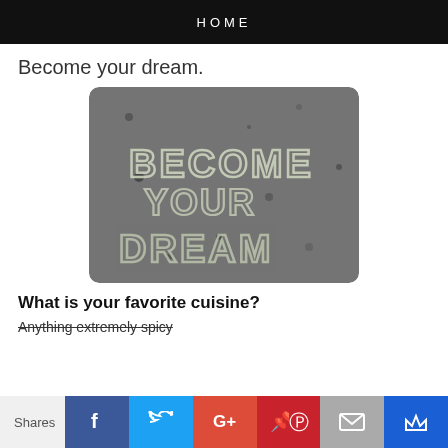HOME
Become your dream.
[Figure (photo): Photo of concrete/asphalt pavement with chalk writing reading 'BECOME YOUR DREAM']
What is your favorite cuisine?
Anything extremely spicy
Shares  f  Twitter  G+  Pinterest  Email  Crown